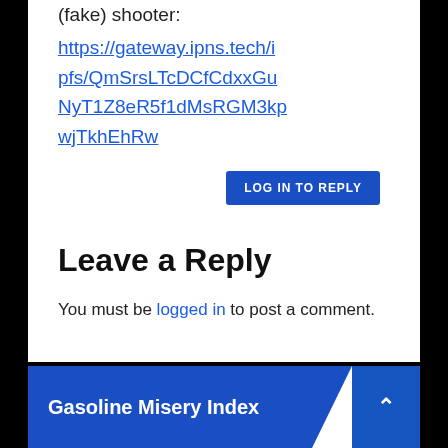(fake) shooter:
https://gateway.ipns.tech/ipfs/QmSrsLTcDCfCdxxGuNyT1Z8eR5f1dMsRGM3kpwjTkhEhRw
LOG IN TO REPLY
Leave a Reply
You must be logged in to post a comment.
Gasoline Misery Index